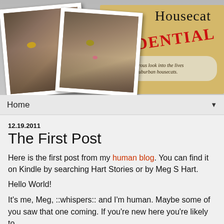[Figure (illustration): Blog header banner for 'Housecat Confidential' featuring two cat photos (polaroid style) on left, a manila folder background on right with title 'Housecat CONFIDENTIAL' and subtitle 'A humorous look into the lives of two suburban housecats.']
Home ▼
12.19.2011
The First Post
Here is the first post from my human blog. You can find it on Kindle by searching Hart Stories or by Meg S Hart.
Hello World!
It's me, Meg, ::whispers:: and I'm human. Maybe some of you saw that one coming. If you're new here you're likely to